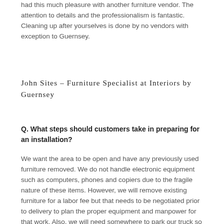had this much pleasure with another furniture vendor. The attention to details and the professionalism is fantastic. Cleaning up after yourselves is done by no vendors with exception to Guernsey.
John Sites – Furniture Specialist at Interiors by Guernsey
Q. What steps should customers take in preparing for an installation?
We want the area to be open and have any previously used furniture removed. We do not handle electronic equipment such as computers, phones and copiers due to the fragile nature of these items. However, we will remove existing furniture for a labor fee but that needs to be negotiated prior to delivery to plan the proper equipment and manpower for that work. Also, we will need somewhere to park our truck so that we can access the building, preferably with a truck height dock but a space close to the door will work too.